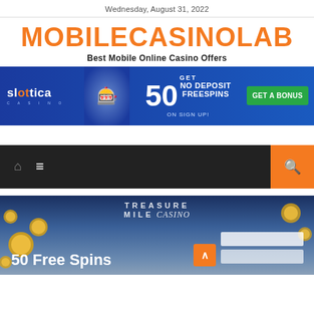Wednesday, August 31, 2022
MOBILECASINOLAB
Best Mobile Online Casino Offers
[Figure (infographic): Slottica Casino banner ad: GET 50 NO DEPOSIT FREESPINS ON SIGN UP! with GET A BONUS green button]
[Figure (infographic): Navigation bar with home icon, hamburger menu icon, and orange search button on dark background]
[Figure (infographic): Treasure Mile Casino hero image with coins, 50 Free Spins text, email signup form, and scroll-to-top button]